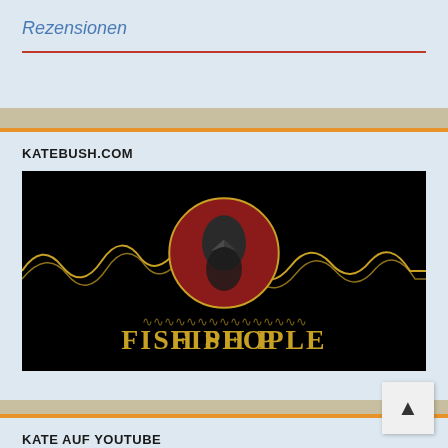Rezensionen
KATEBUSH.COM
[Figure (photo): Fish People promotional image: dark/black background with gold wavy line pattern, circular image of figure wearing bird/plague doctor mask on red background in center, gold text reading 'FISH PEOPLE' at the bottom in decorative font]
KATE AUF YOUTUBE
[Figure (screenshot): YouTube video thumbnail with dark background, white bold text 'Welcome to the official', showing black and white photo of Kate Bush performing]